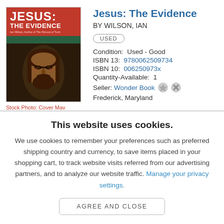[Figure (photo): Book cover of 'Jesus: The Evidence' by Ian Wilson, showing a red banner with bold white title text at top and a Byzantine-style face of Jesus below, on a dark teal background]
Stock Photo: Cover Mav
Jesus: The Evidence
BY WILSON, IAN
USED
Condition:  Used - Good
ISBN 13:  9780062509734
ISBN 10:  006250973x
Quantity-Available:  1
Seller:  Wonder Book
Frederick, Maryland
This website uses cookies.
We use cookies to remember your preferences such as preferred shipping country and currency, to save items placed in your shopping cart, to track website visits referred from our advertising partners, and to analyze our website traffic. Manage your privacy settings.
AGREE AND CLOSE